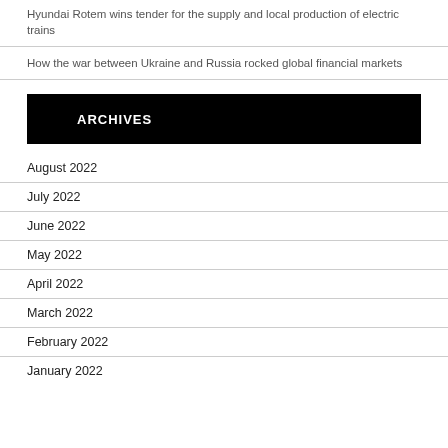Hyundai Rotem wins tender for the supply and local production of electric trains
How the war between Ukraine and Russia rocked global financial markets
ARCHIVES
August 2022
July 2022
June 2022
May 2022
April 2022
March 2022
February 2022
January 2022